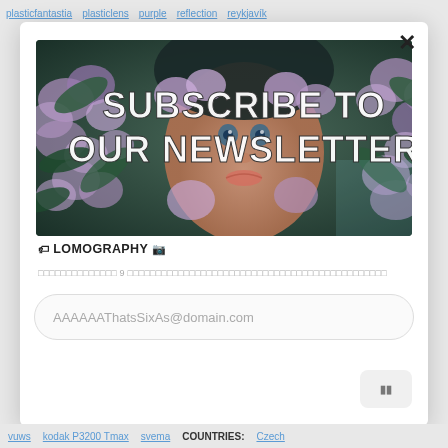plasticfantastia   plasticlens   purple   reflection   reykjavík
[Figure (photo): A person's face partially obscured by purple/lilac flowers and green leaves, with text overlay 'SUBSCRIBE TO OUR NEWSLETTER' in large white bold uppercase letters]
🎞 LOMOGRAPHY 📷
aaaaaaaaaaaaaa 9 aaaaaaaaaaaaaaaaaaaaaaaaaaaaaaaaaaaaaaaaaaaaaaaaaaa
AAAAAAThatsSixAs@domain.com
▪▪
vuws   kodak P3200 Tmax   svema   COUNTRIES:   Czech